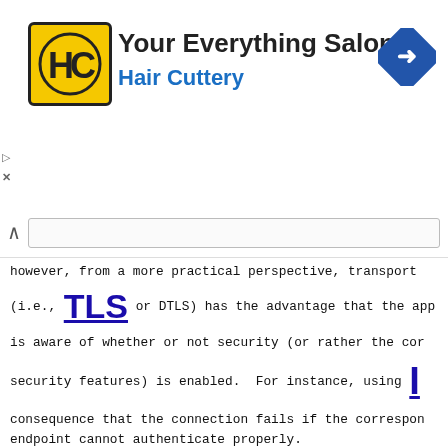[Figure (other): Advertisement banner for Hair Cuttery salon with logo, text 'Your Everything Salon' and 'Hair Cuttery', and a navigation icon]
however, from a more practical perspective, transport (i.e., TLS or DTLS) has the advantage that the app is aware of whether or not security (or rather the cor security features) is enabled. For instance, using I consequence that the connection fails if the correspon endpoint cannot authenticate properly. While IPsec fulfills the same requirements from perspective, IPsec is somewhat de-coupling secu application using it. For instance, IPsec is o dedicated entities in such a way that from the applica cannot be recognized whether or not IPsec or ce features are turned on ("bump-in-the-wire").